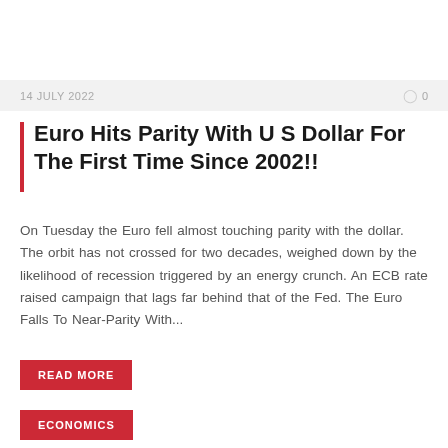14 JULY 2022   ◯ 0
Euro Hits Parity With U S Dollar For The First Time Since 2002!!
On Tuesday the Euro fell almost touching parity with the dollar. The orbit has not crossed for two decades, weighed down by the likelihood of recession triggered by an energy crunch. An ECB rate raised campaign that lags far behind that of the Fed. The Euro Falls To Near-Parity With...
READ MORE
ECONOMICS